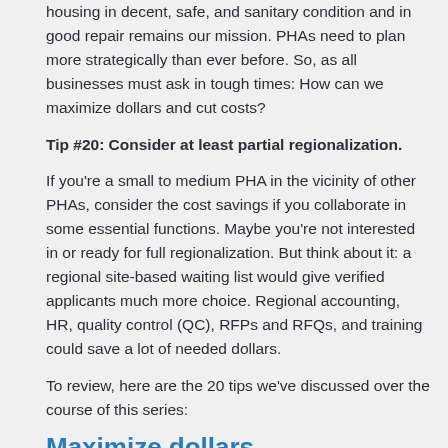housing in decent, safe, and sanitary condition and in good repair remains our mission. PHAs need to plan more strategically than ever before. So, as all businesses must ask in tough times: How can we maximize dollars and cut costs?
Tip #20: Consider at least partial regionalization.
If you're a small to medium PHA in the vicinity of other PHAs, consider the cost savings if you collaborate in some essential functions. Maybe you're not interested in or ready for full regionalization. But think about it: a regional site-based waiting list would give verified applicants much more choice. Regional accounting, HR, quality control (QC), RFPs and RFQs, and training could save a lot of needed dollars.
To review, here are the 20 tips we've discussed over the course of this series:
Maximize dollars
Maximize occupancy.
Set performance standards for each property.
Give property managers responsibility and authority to fill